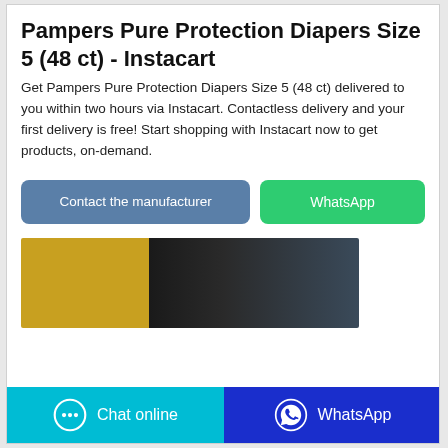Pampers Pure Protection Diapers Size 5 (48 ct) - Instacart
Get Pampers Pure Protection Diapers Size 5 (48 ct) delivered to you within two hours via Instacart. Contactless delivery and your first delivery is free! Start shopping with Instacart now to get products, on-demand.
[Figure (other): Two buttons: 'Contact the manufacturer' (blue/grey) and 'WhatsApp' (green)]
[Figure (photo): Partial product image showing gold/yellow packaging on the left and dark packaging on the right]
[Figure (other): Bottom bar with two buttons: 'Chat online' (cyan/blue) and 'WhatsApp' (dark blue)]